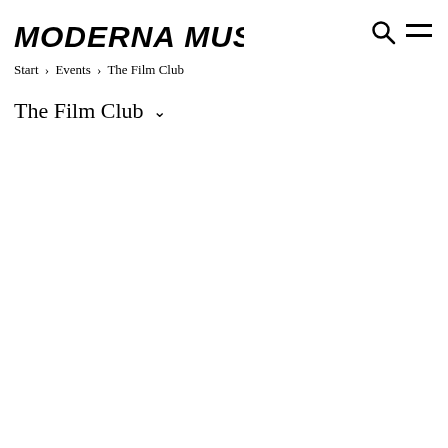MODERNA MUSEET
Start › Events › The Film Club
The Film Club ˅